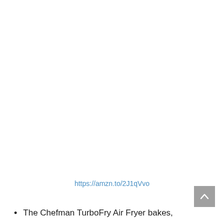https://amzn.to/2J1qVvo
The Chefman TurboFry Air Fryer bakes,